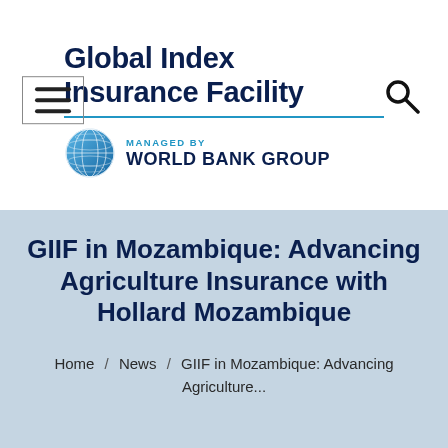[Figure (logo): Global Index Insurance Facility logo managed by World Bank Group — hamburger menu icon on left, magnifying glass search icon on right, globe icon with World Bank Group text]
GIIF in Mozambique: Advancing Agriculture Insurance with Hollard Mozambique
Home / News / GIIF in Mozambique: Advancing Agriculture...